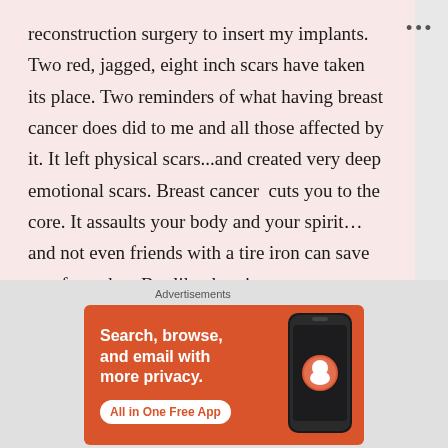reconstruction surgery to insert my implants. Two red, jagged, eight inch scars have taken its place. Two reminders of what having breast cancer does did to me and all those affected by it. It left physical scars...and created very deep emotional scars. Breast cancer cuts you to the core. It assaults your body and your spirit... and not even friends with a tire iron can save you from that. But like that time so many years ago, I survived. I have not and will not let these scars dictate how I deal with the rest of my life.
[Figure (screenshot): DuckDuckGo advertisement banner with orange background showing 'Search, browse, and email with more privacy. All in One Free App' with a phone image and DuckDuckGo logo.]